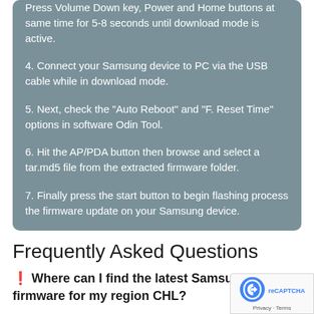Press Volume Down key, Power and Home buttons at same time for 5-8 seconds until download mode is active.
4. Connect your Samsung device to PC via the USB cable while in download mode.
5. Next, check the "Auto Reboot" and "F. Reset Time" options in software Odin Tool.
6. Hit the AP/PDA button then browse and select a tar.md5 file from the extracted firmware folder.
7. Finally press the start button to begin flashing process the firmware update on your Samsung device.
Frequently Asked Questions
❓ Where can I find the latest Samsung firmware for my region CHL?
The list of firmwares for the region is available at SM-A...